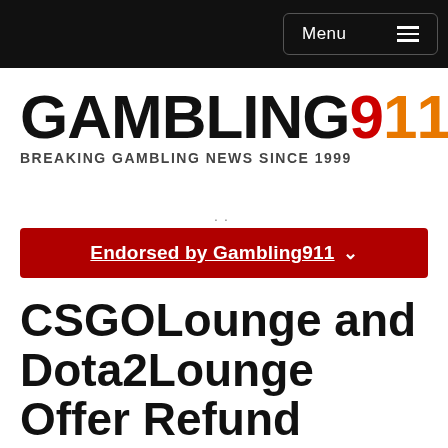Menu
[Figure (logo): Gambling911 logo with GAMBLING in black bold text, 9 in red, 11 in orange]
BREAKING GAMBLING NEWS SINCE 1999
..
Endorsed by Gambling911 ∨
CSGOLounge and Dota2Lounge Offer Refund Program Following Scandal